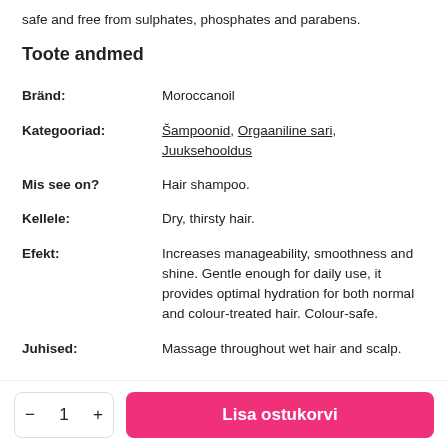safe and free from sulphates, phosphates and parabens.
Toote andmed
| Bränd: | Moroccanoil |
| Kategooriad: | Šampoonid, Orgaaniline sari, Juuksehooldus |
| Mis see on? | Hair shampoo. |
| Kellele: | Dry, thirsty hair. |
| Efekt: | Increases manageability, smoothness and shine. Gentle enough for daily use, it provides optimal hydration for both normal and colour-treated hair. Colour-safe. |
| Juhised: | Massage throughout wet hair and scalp. |
Lisa ostukorvi